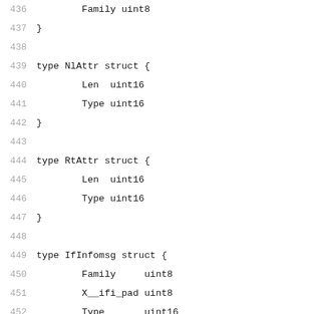436     Family uint8
437 }
438
439 type NlAttr struct {
440         Len  uint16
441         Type uint16
442 }
443
444 type RtAttr struct {
445         Len  uint16
446         Type uint16
447 }
448
449 type IfInfomsg struct {
450         Family     uint8
451         X__ifi_pad uint8
452         Type       uint16
453         Index      int32
454         Flags      uint32
455         Change     uint32
456 }